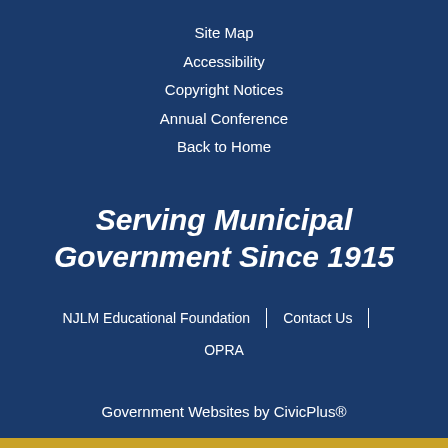Site Map
Accessibility
Copyright Notices
Annual Conference
Back to Home
Serving Municipal Government Since 1915
NJLM Educational Foundation | Contact Us | OPRA
Government Websites by CivicPlus®